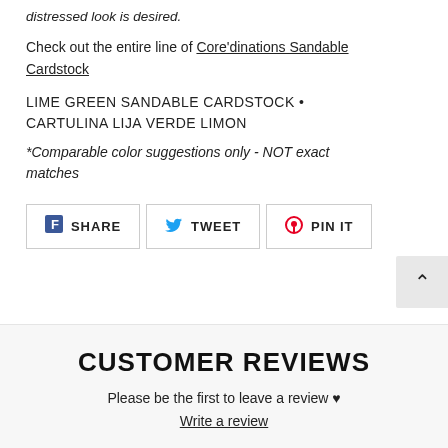distressed look is desired.
Check out the entire line of Core'dinations Sandable Cardstock
LIME GREEN SANDABLE CARDSTOCK • CARTULINA LIJA VERDE LIMON
*Comparable color suggestions only - NOT exact matches
[Figure (other): Social share buttons: SHARE (Facebook), TWEET (Twitter), PIN IT (Pinterest)]
CUSTOMER REVIEWS
Please be the first to leave a review ♥
Write a review